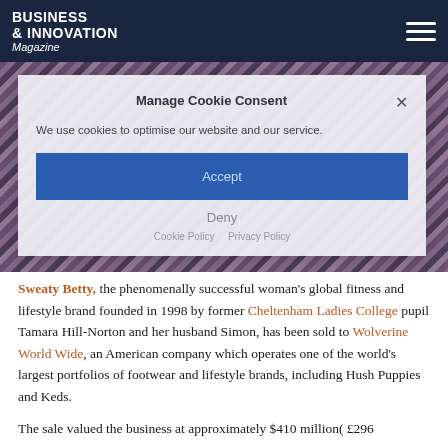BUSINESS & INNOVATION Magazine
[Figure (photo): Lower body photo of a woman wearing floral-patterned fitness leggings and white sneakers, used as hero image for Sweaty Betty article]
Manage Cookie Consent
We use cookies to optimise our website and our service.
Accept
Deny
Sweaty Betty, the phenomenally successful woman's global fitness and lifestyle brand founded in 1998 by former Cheltenham Ladies College pupil Tamara Hill-Norton and her husband Simon, has been sold to Wolverine World Wide, an American company which operates one of the world's largest portfolios of footwear and lifestyle brands, including Hush Puppies and Keds.
The sale valued the business at approximately $410 million( £296